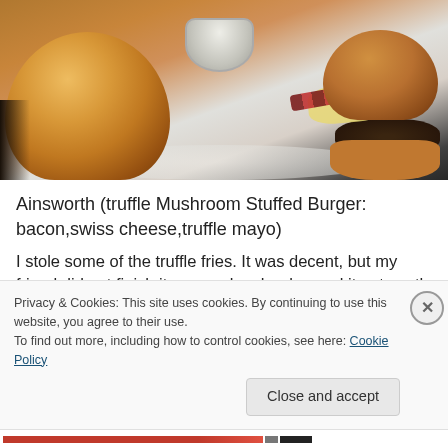[Figure (photo): Photo of burgers on a plate — golden bun on the left, a stuffed burger with cheese and bacon on the right, a small bowl of sauce in the center background]
Ainsworth (truffle Mushroom Stuffed Burger: bacon,swiss cheese,truffle mayo)
I stole some of the truffle fries. It was decent, but my friend did not finish it, so maybe she deemed it not worth the calories or maybe she wasn't hungry. I don't know, but probably not a great sign.
Privacy & Cookies: This site uses cookies. By continuing to use this website, you agree to their use.
To find out more, including how to control cookies, see here: Cookie Policy
Close and accept